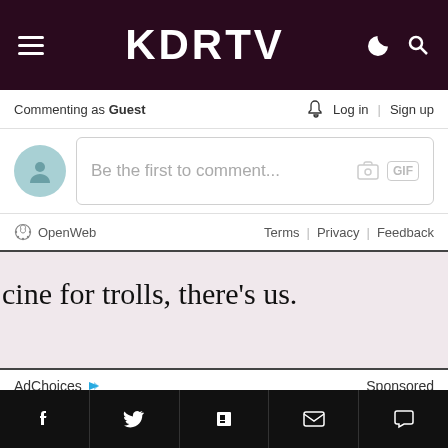KDRTV
Commenting as Guest   🔔 Log in | Sign up
Be the first to comment...
OpenWeb   Terms | Privacy | Feedback
[Figure (other): Advertisement banner with text: ...cine for trolls, there's us.]
AdChoices ▷   Sponsored
Popular in the Community
Facebook | Twitter | Flipboard | Email | Comment